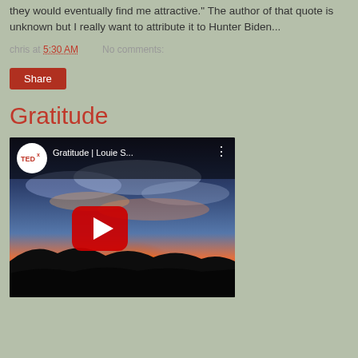they would eventually find me attractive." The author of that quote is unknown but I really want to attribute it to Hunter Biden...
chris at 5:30 AM    No comments:
Share
Gratitude
[Figure (screenshot): YouTube video thumbnail for TEDx talk titled 'Gratitude | Louie S...' showing a sunset sky with dramatic clouds and silhouetted mountains. A red YouTube play button is centered on the image.]